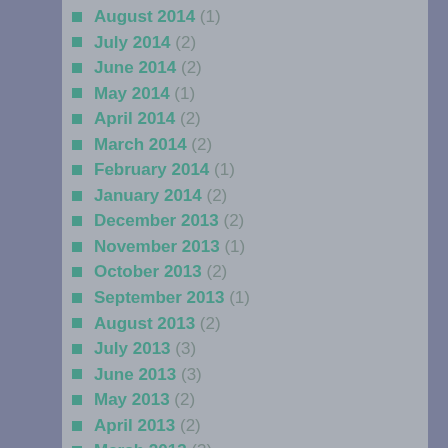August 2014 (1)
July 2014 (2)
June 2014 (2)
May 2014 (1)
April 2014 (2)
March 2014 (2)
February 2014 (1)
January 2014 (2)
December 2013 (2)
November 2013 (1)
October 2013 (2)
September 2013 (1)
August 2013 (2)
July 2013 (3)
June 2013 (3)
May 2013 (2)
April 2013 (2)
March 2013 (3)
February 2013 (3)
January 2013 (2)
December 2012 (2)
November 2012 (3)